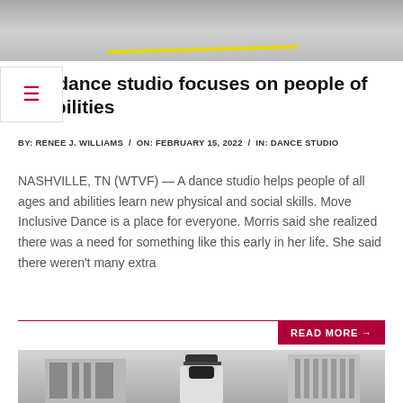[Figure (photo): Top portion of a dance studio interior showing a floor with a yellow line visible]
The dance studio focuses on people of all abilities
BY: RENEE J. WILLIAMS / ON: FEBRUARY 15, 2022 / IN: DANCE STUDIO
NASHVILLE, TN (WTVF) — A dance studio helps people of all ages and abilities learn new physical and social skills. Move Inclusive Dance is a place for everyone. Morris said she realized there was a need for something like this early in her life. She said there weren't many extra
READ MORE →
[Figure (photo): Person wearing a black baseball cap and black face mask, standing outdoors near a building with white walls and metal grates]